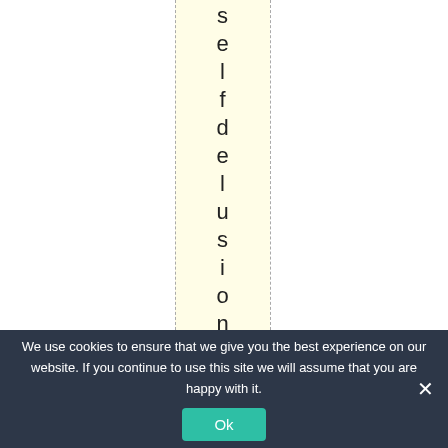selfdelusionandthe
We use cookies to ensure that we give you the best experience on our website. If you continue to use this site we will assume that you are happy with it. Ok ×